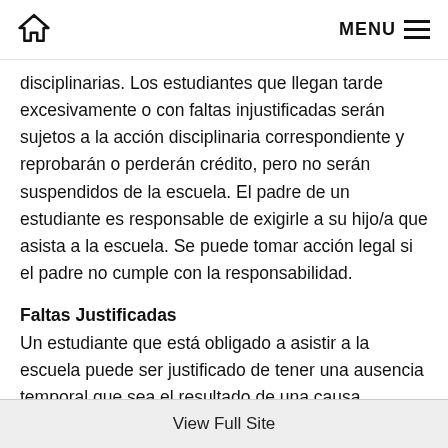🏠 MENU
disciplinarias. Los estudiantes que llegan tarde excesivamente o con faltas injustificadas serán sujetos a la acción disciplinaria correspondiente y reprobarán o perderán crédito, pero no serán suspendidos de la escuela. El padre de un estudiante es responsable de exigirle a su hijo/a que asista a la escuela. Se puede tomar acción legal si el padre no cumple con la responsabilidad.
Faltas Justificadas
Un estudiante que está obligado a asistir a la escuela puede ser justificado de tener una ausencia temporal que sea el resultado de una causa aceptable para el maestro o director de la
View Full Site